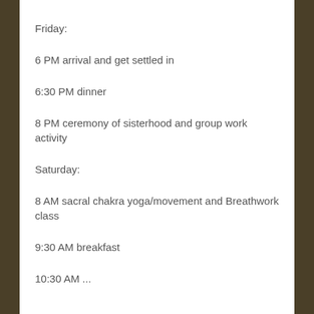Friday:
6 PM arrival and get settled in
6:30 PM dinner
8 PM ceremony of sisterhood and group work activity
Saturday:
8 AM sacral chakra yoga/movement and Breathwork class
9:30 AM breakfast
10:30 AM ...